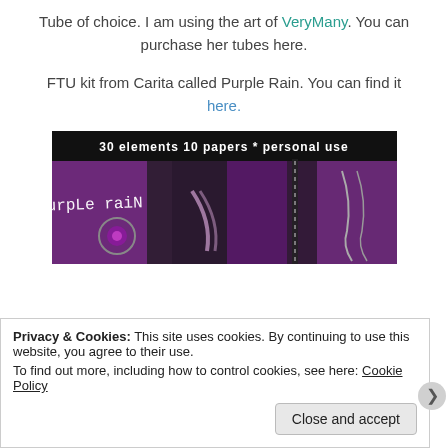Tube of choice. I am using the art of VeryMany. You can purchase her tubes here.
FTU kit from Carita called Purple Rain. You can find it here.
[Figure (photo): Purple Rain scrapbook kit preview image showing purple and black elements including jewelry, ribbons, and fabric. Text overlay reads '30 elements  10 papers * personal use' and 'purple rain'.]
Privacy & Cookies: This site uses cookies. By continuing to use this website, you agree to their use.
To find out more, including how to control cookies, see here: Cookie Policy
Close and accept